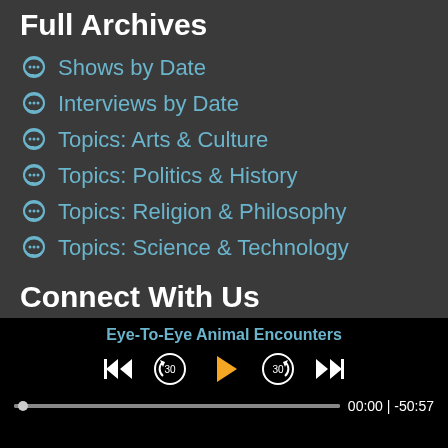Full Archives
Shows by Date
Interviews by Date
Topics: Arts & Culture
Topics: Politics & History
Topics: Religion & Philosophy
Topics: Science & Technology
Connect With Us
[Figure (screenshot): Media player bar showing Eye-To-Eye Animal Encounters with playback controls (skip back, rewind 30s, play, forward 30s, skip forward), progress bar at 00:00, total time -50:57]